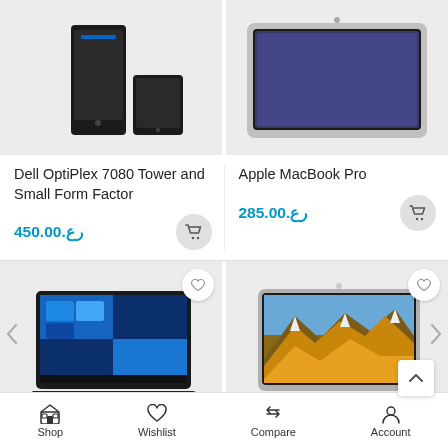[Figure (photo): Dell OptiPlex 7080 Tower and Small Form Factor desktop computer - top portion of product image on gray background]
[Figure (photo): Apple MacBook Pro laptop - top portion of product image on gray background]
Dell OptiPlex 7080 Tower and Small Form Factor
رع.450.00
Apple MacBook Pro
رع.285.00
[Figure (photo): Lenovo ThinkPad laptop with Windows 10 desktop screen visible, black, on gray background]
[Figure (photo): Apple MacBook Pro laptop with mountain landscape wallpaper on gray background]
Shop   Wishlist   Compare   Account